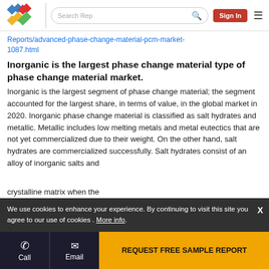Search Rep | Sign In | [menu]
Reports/advanced-phase-change-material-pcm-market-1087.html
Inorganic is the largest phase change material type of phase change material market.
Inorganic is the largest segment of phase change material; the segment accounted for the largest share, in terms of value, in the global market in 2020. Inorganic phase change material is classified as salt hydrates and metallic. Metallic includes low melting metals and metal eutectics that are not yet commercialized due to their weight. On the other hand, salt hydrates are commercialized successfully. Salt hydrates consist of an alloy of inorganic salts and … crystalline matrix when the
We use cookies to enhance your experience. By continuing to visit this site you agree to our use of cookies . More info.
Call | Email | REQUEST FREE SAMPLE REPORT